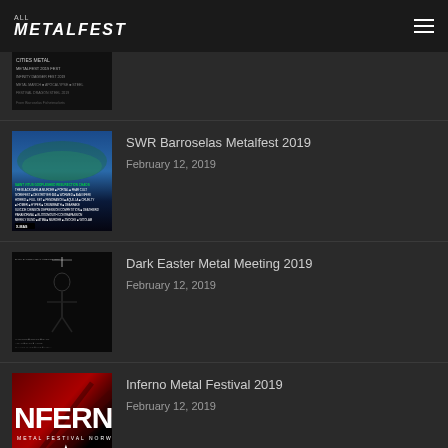ALL METALFEST
[Figure (photo): Partial festival poster visible at top of page, cut off]
SWR Barroselas Metalfest 2019
February 12, 2019
[Figure (photo): SWR Barroselas Metalfest 2019 festival poster with band lineup text on blue/dark background]
Dark Easter Metal Meeting 2019
February 12, 2019
[Figure (photo): Dark Easter Metal Meeting 2019 festival poster with dark figure on black background]
Inferno Metal Festival 2019
February 12, 2019
[Figure (photo): Inferno Metal Festival Norway 2019 poster, red and black, dates 18.-21. April 2019]